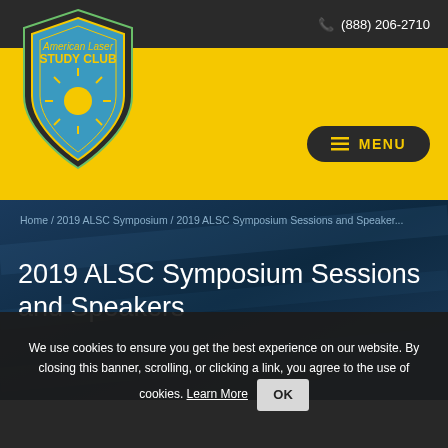(888) 206-2710
[Figure (logo): American Laser Study Club shield logo in blue and yellow with sun/star emblem]
MENU
Home / 2019 ALSC Symposium / 2019 ALSC Symposium Sessions and Speaker...
2019 ALSC Symposium Sessions and Speakers
We use cookies to ensure you get the best experience on our website. By closing this banner, scrolling, or clicking a link, you agree to the use of cookies. Learn More OK